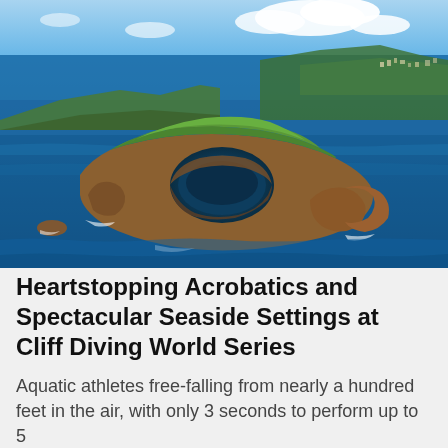[Figure (photo): Aerial photograph of a rocky island with a circular crater lagoon surrounded by ocean, with green coastal cliffs and a town visible in the background under blue sky with clouds. The island has dramatic reddish-brown rock formations and is surrounded by deep blue Atlantic Ocean water.]
Heartstopping Acrobatics and Spectacular Seaside Settings at Cliff Diving World Series
Aquatic athletes free-falling from nearly a hundred feet in the air, with only 3 seconds to perform up to 5